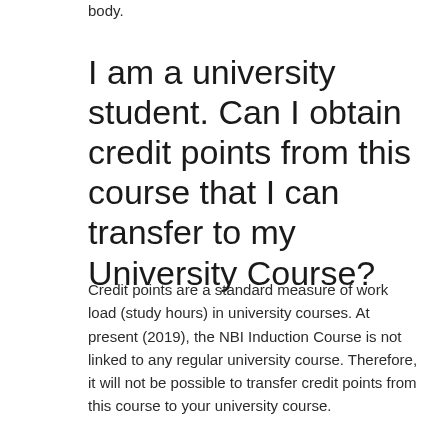body.
I am a university student. Can I obtain credit points from this course that I can transfer to my University Course?
Credit points are a standard measure of work load (study hours) in university courses. At present (2019), the NBI Induction Course is not linked to any regular university course. Therefore, it will not be possible to transfer credit points from this course to your university course.